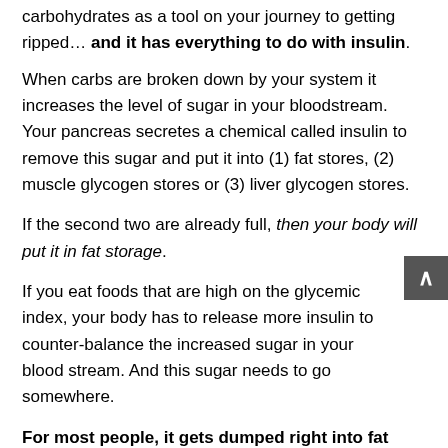carbohydrates as a tool on your journey to getting ripped… and it has everything to do with insulin.
When carbs are broken down by your system it increases the level of sugar in your bloodstream. Your pancreas secretes a chemical called insulin to remove this sugar and put it into (1) fat stores, (2) muscle glycogen stores or (3) liver glycogen stores.
If the second two are already full, then your body will put it in fat storage.
If you eat foods that are high on the glycemic index, your body has to release more insulin to counter-balance the increased sugar in your blood stream. And this sugar needs to go somewhere.
For most people, it gets dumped right into fat storage.